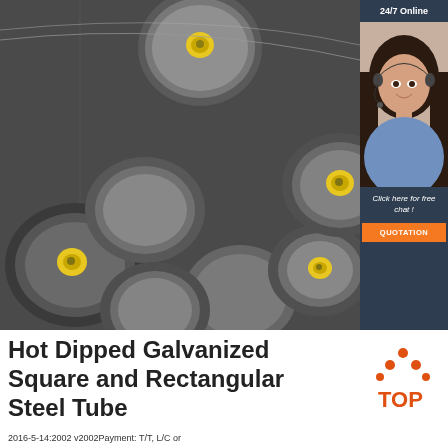[Figure (photo): Stack of round steel bars/rods viewed from the end, showing circular cross-sections with yellow end caps, in an industrial setting]
[Figure (photo): Customer service agent woman with headset smiling, 24/7 Online chat widget with dark navy background, orange QUOTATION button]
Hot Dipped Galvanized Square and Rectangular Steel Tube
[Figure (logo): TOP logo with orange triangle/arrow pointing up made of dots, and text TOP in orange]
2016-5-14:2002 v2002Payment: T/T, L/C or